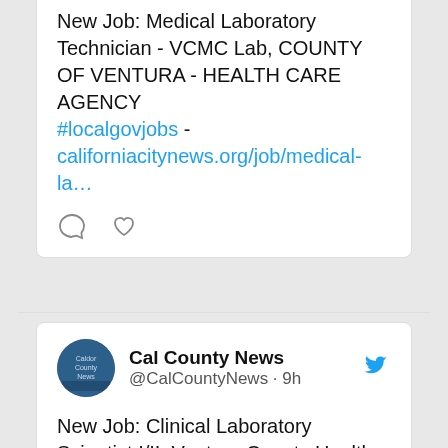New Job: Medical Laboratory Technician - VCMC Lab, COUNTY OF VENTURA - HEALTH CARE AGENCY #localgovjobs - californiacitynews.org/job/medical-la…
[Figure (other): Tweet action icons: comment bubble and heart/like icon]
[Figure (other): Cal County News Twitter profile card with avatar, username @CalCountyNews, 9h timestamp, and Twitter bird icon]
New Job: Clinical Laboratory Scientist I/II, Ventura County Health Care Agency #localgovjobs